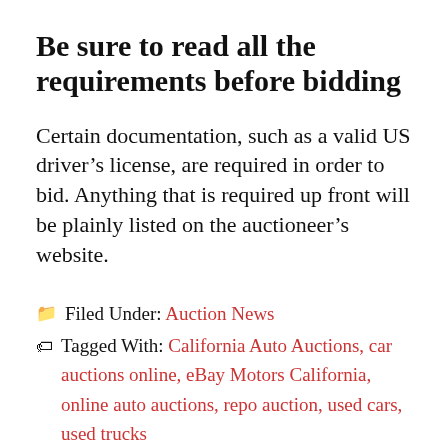Be sure to read all the requirements before bidding
Certain documentation, such as a valid US driver's license, are required in order to bid. Anything that is required up front will be plainly listed on the auctioneer's website.
Filed Under: Auction News
Tagged With: California Auto Auctions, car auctions online, eBay Motors California, online auto auctions, repo auction, used cars, used trucks